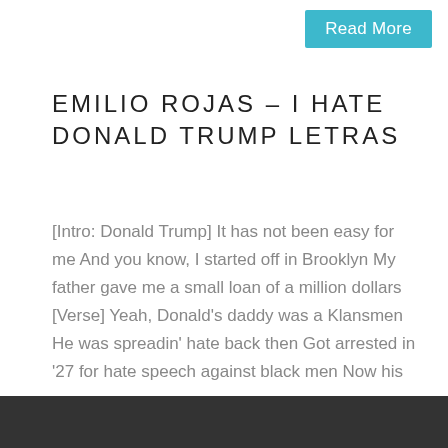Read More
EMILIO ROJAS – I HATE DONALD TRUMP LETRAS
[Intro: Donald Trump] It has not been easy for me And you know, I started off in Brooklyn My father gave me a small loan of a million dollars [Verse] Yeah, Donald's daddy was a Klansmen He was spreadin' hate back then Got arrested in '27 for hate speech against black men Now his son
Read More